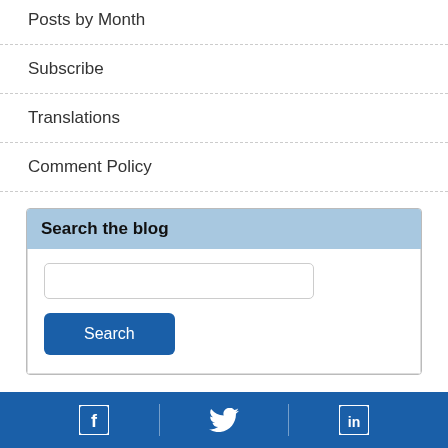Posts by Month
Subscribe
Translations
Comment Policy
Search the blog
[Figure (other): Search input field and Search button inside a blog search widget]
Social media icons: Facebook, Twitter, LinkedIn